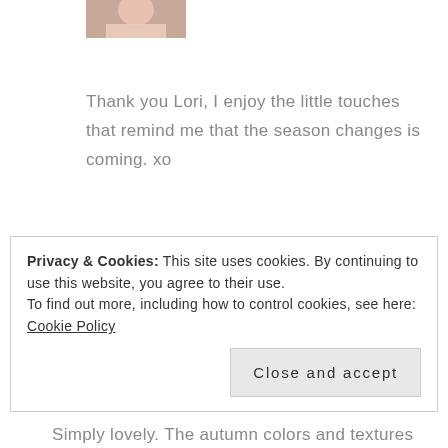[Figure (photo): Partial avatar/profile image cropped at top of page]
Thank you Lori, I enjoy the little touches that remind me that the season changes is coming. xo
Reply
Privacy & Cookies: This site uses cookies. By continuing to use this website, you agree to their use.
To find out more, including how to control cookies, see here:
Cookie Policy
Close and accept
Simply lovely. The autumn colors and textures